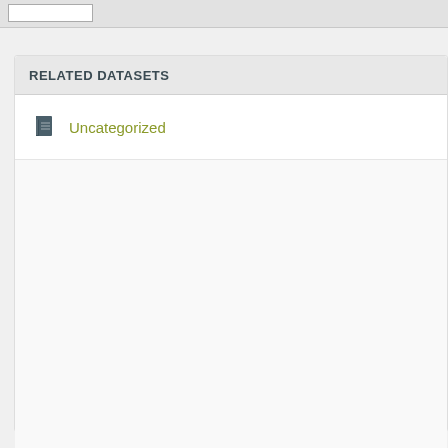RELATED DATASETS
Uncategorized
ASHIKIAR